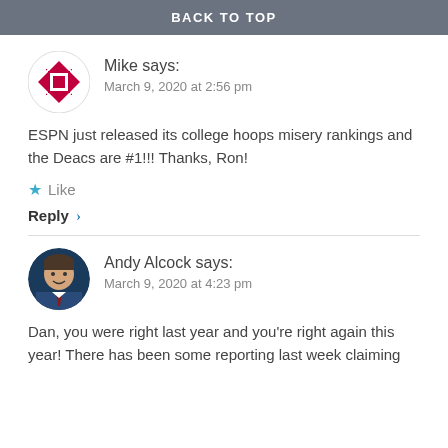BACK TO TOP
Mike says:
March 9, 2020 at 2:56 pm
ESPN just released its college hoops misery rankings and the Deacs are #1!!! Thanks, Ron!
★ Like
Reply ›
Andy Alcock says:
March 9, 2020 at 4:23 pm
Dan, you were right last year and you're right again this year! There has been some reporting last week claiming...